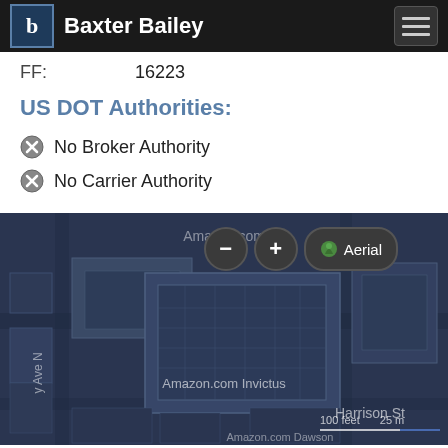Baxter Bailey
FF: 16223
US DOT Authorities:
No Broker Authority
No Carrier Authority
[Figure (map): Aerial map view showing Amazon.com Invictus building and surrounding area near Harrison St and Ave N. Map controls visible: zoom out, zoom in, and Aerial toggle button. Scale bar shows 100 feet / 25 m.]